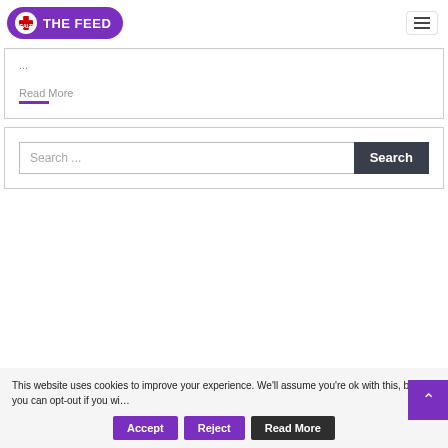[Figure (logo): The Feed Health logo — purple pill-shaped background with white bold text 'THE FEED' and a red cross health icon]
[Figure (other): Hamburger menu icon (three horizontal lines) in a bordered box]
...
Read More
Search ...
Search
This website uses cookies to improve your experience. We'll assume you're ok with this, but you can opt-out if you wish.
Accept
Reject
Read More